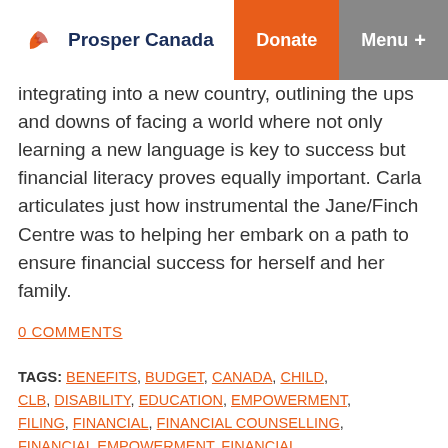Prosper Canada | Donate | Menu +
integrating into a new country, outlining the ups and downs of facing a world where not only learning a new language is key to success but financial literacy proves equally important. Carla articulates just how instrumental the Jane/Finch Centre was to helping her embark on a path to ensure financial success for herself and her family.
0 COMMENTS
TAGS: BENEFITS, BUDGET, CANADA, CHILD, CLB, DISABILITY, EDUCATION, EMPOWERMENT, FILING, FINANCIAL, FINANCIAL COUNSELLING, FINANCIAL EMPOWERMENT, FINANCIAL EMPOWERMENT CHAMPION, FINANCIAL LITERACY, FINANCIAL STABILITY, FINANCIAL WELL-BEING, GOAL SETTING, IMMIGRANT, IMMIGRATION, LITERACY, LOW INCOME, LOW-